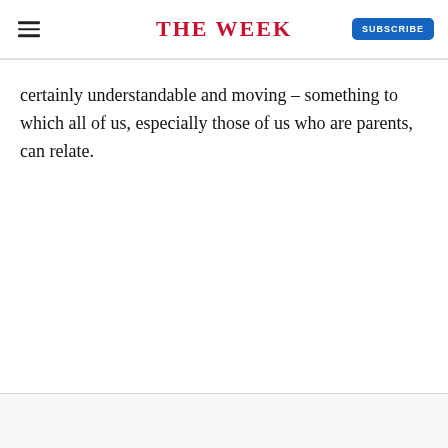THE WEEK
certainly understandable and moving – something to which all of us, especially those of us who are parents, can relate.